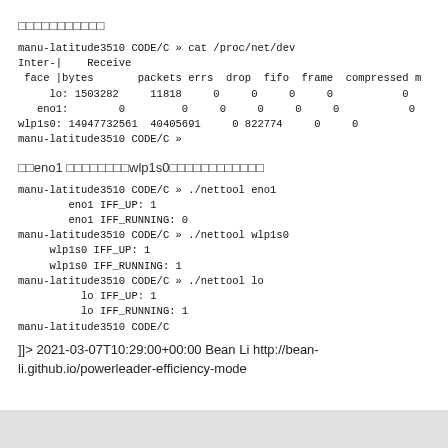□□□□□□□□□□□
manu-latitude3510 CODE/C » cat /proc/net/dev
Inter-|    Receive
 face |bytes       packets errs  drop  fifo  frame  compressed m
     lo: 1503282     11818     0     0     0     0           0
   eno1:        0         0     0     0     0     0           0
wlp1s0: 14947732561  40405691     0  822774     0     0
manu-latitude3510 CODE/C »
□□eno1 □□□□□□□□wlp1s0□□□□□□□□□□□□
manu-latitude3510 CODE/C » ./nettool eno1
        eno1 IFF_UP: 1
        eno1 IFF_RUNNING: 0
manu-latitude3510 CODE/C » ./nettool wlp1s0
     wlp1s0 IFF_UP: 1
     wlp1s0 IFF_RUNNING: 1
manu-latitude3510 CODE/C » ./nettool lo
          lo IFF_UP: 1
          lo IFF_RUNNING: 1
manu-latitude3510 CODE/C
]]> 2021-03-07T10:29:00+00:00 Bean Li http://bean-li.github.io/powerleader-efficiency-mode